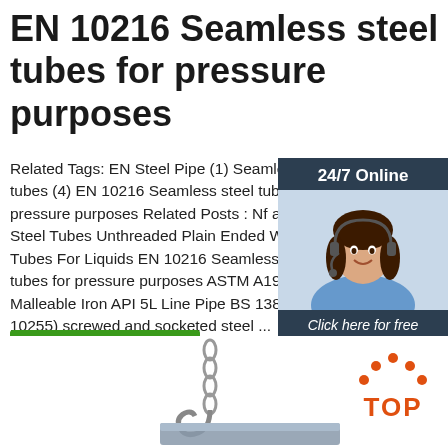EN 10216 Seamless steel tubes for pressure purposes
Related Tags: EN Steel Pipe (1) Seamless steel tubes (4) EN 10216 Seamless steel tubes for pressure purposes Related Posts : Nf a4 Steel Tubes Unthreaded Plain Ended We Tubes For Liquids EN 10216 Seamless s tubes for pressure purposes ASTM A197 Malleable Iron API 5L Line Pipe BS 1387 10255) screwed and socketed steel ...
[Figure (other): Chat widget with 24/7 Online label, photo of woman with headset, 'Click here for free chat!' text, and QUOTATION button]
[Figure (other): Get Price green button]
[Figure (photo): Crane hook and metal beam photograph at bottom of page]
[Figure (logo): TOP logo with orange dots arranged in arc above text]